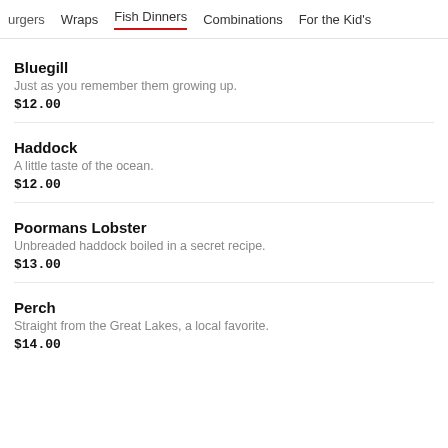urgers   Wraps   Fish Dinners   Combinations   For the Kid's
Bluegill
Just as you remember them growing up.
$12.00
Haddock
A little taste of the ocean.
$12.00
Poormans Lobster
Unbreaded haddock boiled in a secret recipe.
$13.00
Perch
Straight from the Great Lakes, a local favorite.
$14.00